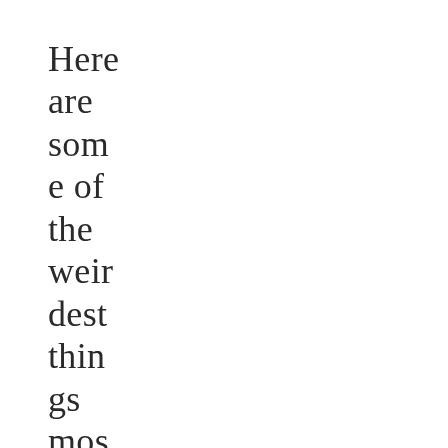Here are some of the weirdest things most couples in long-